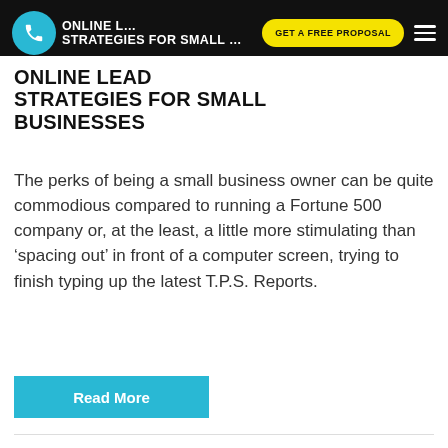ONLINE LEAD STRATEGIES FOR SMALL BUSINESSES
ONLINE LEAD STRATEGIES FOR SMALL BUSINESSES
The perks of being a small business owner can be quite commodious compared to running a Fortune 500 company or, at the least, a little more stimulating than ‘spacing out’ in front of a computer screen, trying to finish typing up the latest T.P.S. Reports.
Read More